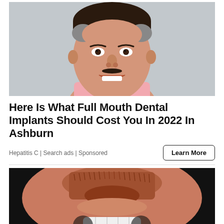[Figure (photo): Close-up headshot of a middle-aged man with dark hair smiling broadly, showing white teeth, wearing a pink shirt, against a light grey background.]
Here Is What Full Mouth Dental Implants Should Cost You In 2022 In Ashburn
Hepatitis C | Search ads | Sponsored
[Figure (photo): Close-up photo of a person's lower face showing a goatee/mustache and white dental implants/veneers on the lower teeth, against a dark background.]